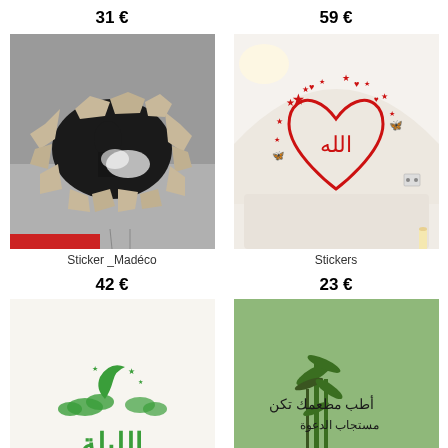31 €
59 €
[Figure (photo): Black and white photo of a person seen through a broken brick wall, trompe-l'oeil wall sticker]
[Figure (photo): Room wall with red Arabic calligraphy sticker showing Allah in a heart shape with stars and butterflies on white arched wall]
Sticker _Madéco
Stickers
42 €
23 €
[Figure (photo): White background with green Arabic calligraphy sticker]
[Figure (photo): Green background with black Arabic calligraphy sticker with bamboo illustration]